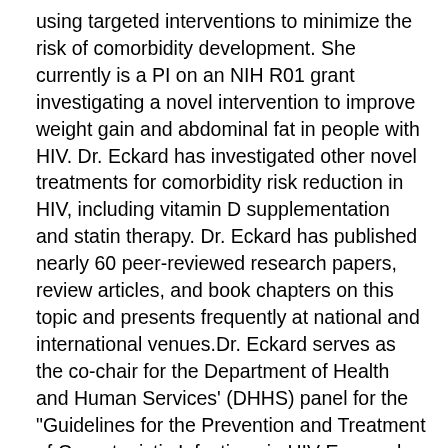using targeted interventions to minimize the risk of comorbidity development. She currently is a PI on an NIH R01 grant investigating a novel intervention to improve weight gain and abdominal fat in people with HIV. Dr. Eckard has investigated other novel treatments for comorbidity risk reduction in HIV, including vitamin D supplementation and statin therapy. Dr. Eckard has published nearly 60 peer-reviewed research papers, review articles, and book chapters on this topic and presents frequently at national and international venues.Dr. Eckard serves as the co-chair for the Department of Health and Human Services' (DHHS) panel for the "Guidelines for the Prevention and Treatment of Opportunistic Infections in HIV-Exposed and HIV-Infected Children" and is an appointed scientific member for DHHS's panel for the &"Guidelines for the Use of Antiretroviral Agents in Adults and Adolescents with HIV.&" Board certified in pediatrics and pediatric infectious diseases, Dr. Eckard is an active member of numerous professional societies, including maintaining fellowship